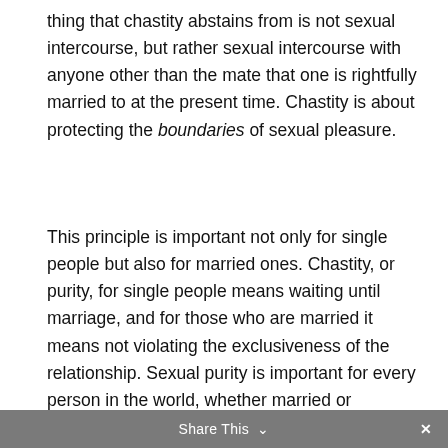thing that chastity abstains from is not sexual intercourse, but rather sexual intercourse with anyone other than the mate that one is rightfully married to at the present time. Chastity is about protecting the boundaries of sexual pleasure.
This principle is important not only for single people but also for married ones. Chastity, or purity, for single people means waiting until marriage, and for those who are married it means not violating the exclusiveness of the relationship. Sexual purity is important for every person in the world, whether married or unmarried. And chastity does not only have to do with physical actions — if we are to be
Share This ∨  ×